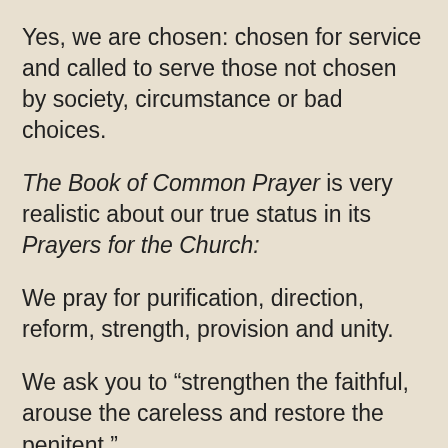Yes, we are chosen: chosen for service and called to serve those not chosen by society, circumstance or bad choices.
The Book of Common Prayer is very realistic about our true status in its Prayers for the Church:
We pray for purification, direction, reform, strength, provision and unity.
We ask you to “strengthen the faithful, arouse the careless and restore the penitent.”
That’s a generous description of the body of Christ - and of me. I can be found in each